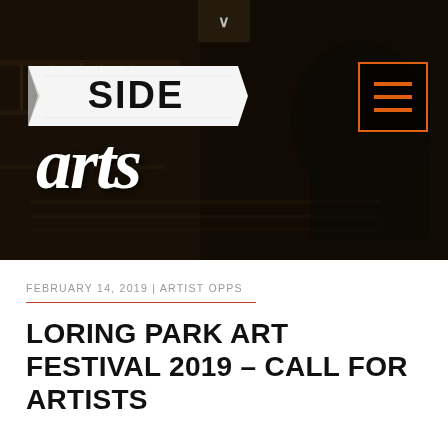[Figure (screenshot): Side Arts website header hero image showing a dark workshop/studio background with tools on shelves, overlaid with the Side Arts logo (a banner ribbon with 'SIDE' text and italic 'arts' script below), a chevron dropdown at the top center, and an orange-outlined hamburger menu icon in the top right corner.]
FEBRUARY 14, 2019 | ARTIST OPPS
LORING PARK ART FESTIVAL 2019 – CALL FOR ARTISTS